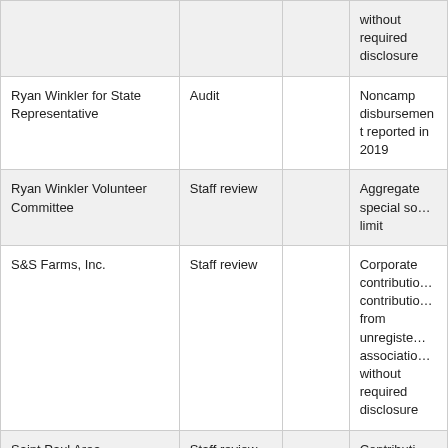|  |  |  | without required disclosure |
| Ryan Winkler for State Representative | Audit |  | Noncamp disbursement reported in 2019 |
| Ryan Winkler Volunteer Committee | Staff review |  | Aggregate special solicitation limit |
| S&S Farms, Inc. | Staff review |  | Corporate contribution contributions from unregistered association without required disclosure |
| Saint Paul Area Association of Realtors Issues Fund | Staff review |  | Contribution from unregistered association without |